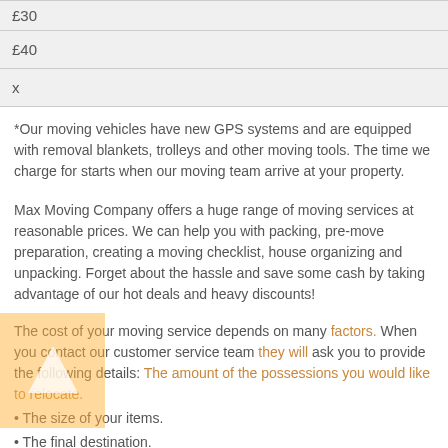| £30 |
| £40 |
| x |
*Our moving vehicles have new GPS systems and are equipped with removal blankets, trolleys and other moving tools. The time we charge for starts when our moving team arrive at your property.
Max Moving Company offers a huge range of moving services at reasonable prices. We can help you with packing, pre-move preparation, creating a moving checklist, house organizing and unpacking. Forget about the hassle and save some cash by taking advantage of our hot deals and heavy discounts!
The cost of your moving service depends on many factors. When you contact our customer service team they will ask you to provide the following details:
• The amount of the possessions you would like to relocate.
• The size of your items.
• The final destination.
• The date and time you would like to move.